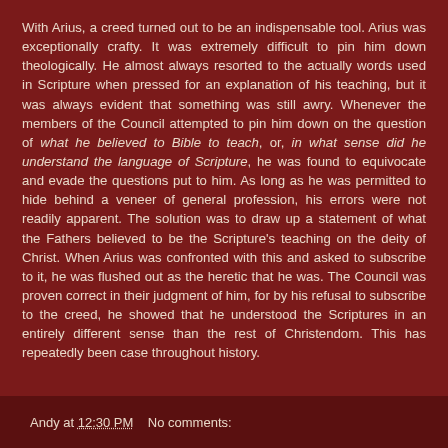With Arius, a creed turned out to be an indispensable tool. Arius was exceptionally crafty. It was extremely difficult to pin him down theologically. He almost always resorted to the actually words used in Scripture when pressed for an explanation of his teaching, but it was always evident that something was still awry. Whenever the members of the Council attempted to pin him down on the question of what he believed to Bible to teach, or, in what sense did he understand the language of Scripture, he was found to equivocate and evade the questions put to him. As long as he was permitted to hide behind a veneer of general profession, his errors were not readily apparent. The solution was to draw up a statement of what the Fathers believed to be the Scripture's teaching on the deity of Christ. When Arius was confronted with this and asked to subscribe to it, he was flushed out as the heretic that he was. The Council was proven correct in their judgment of him, for by his refusal to subscribe to the creed, he showed that he understood the Scriptures in an entirely different sense than the rest of Christendom. This has repeatedly been case throughout history.
Andy at 12:30 PM    No comments: